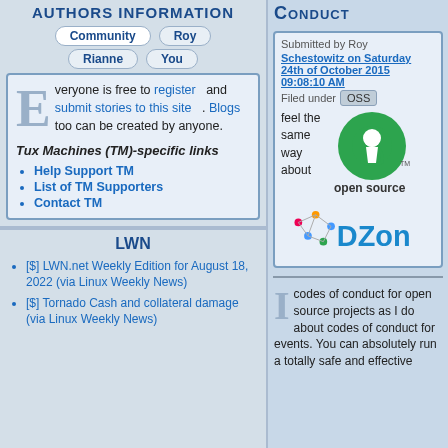Authors Information
Community | Roy | Rianne | You
Everyone is free to register and submit stories to this site. Blogs too can be created by anyone.
Tux Machines (TM)-specific links
Help Support TM
List of TM Supporters
Contact TM
LWN
[$] LWN.net Weekly Edition for August 18, 2022 (via Linux Weekly News)
[$] Tornado Cash and collateral damage (via Linux Weekly News)
Conduct
Submitted by Roy Schestowitz on Saturday 24th of October 2015 09:08:10 AM
Filed under OSS
feel the same way about
[Figure (logo): Open Source Initiative green logo with keyhole symbol and 'open source' text]
[Figure (logo): DZone logo with network graph icon]
I codes of conduct for open source projects as I do about codes of conduct for events. You can absolutely run a totally safe and effective